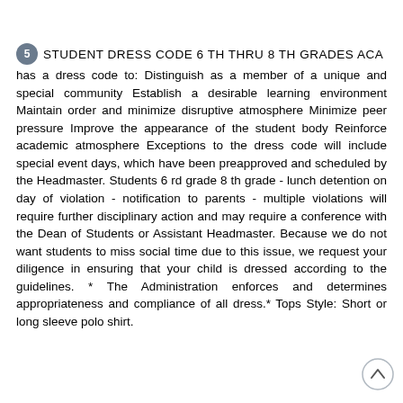5 STUDENT DRESS CODE 6 TH THRU 8 TH GRADES ACA
has a dress code to: Distinguish as a member of a unique and special community Establish a desirable learning environment Maintain order and minimize disruptive atmosphere Minimize peer pressure Improve the appearance of the student body Reinforce academic atmosphere Exceptions to the dress code will include special event days, which have been preapproved and scheduled by the Headmaster. Students 6 rd grade 8 th grade - lunch detention on day of violation - notification to parents - multiple violations will require further disciplinary action and may require a conference with the Dean of Students or Assistant Headmaster. Because we do not want students to miss social time due to this issue, we request your diligence in ensuring that your child is dressed according to the guidelines. * The Administration enforces and determines appropriateness and compliance of all dress.* Tops Style: Short or long sleeve polo shirt.